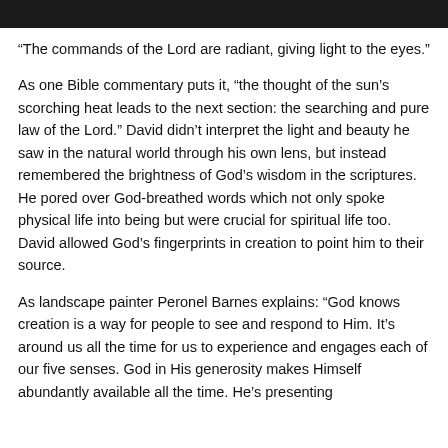[Figure (photo): Dark photograph strip at the top of the page]
“The commands of the Lord are radiant, giving light to the eyes.”
As one Bible commentary puts it, “the thought of the sun’s scorching heat leads to the next section: the searching and pure law of the Lord.” David didn’t interpret the light and beauty he saw in the natural world through his own lens, but instead remembered the brightness of God’s wisdom in the scriptures. He pored over God-breathed words which not only spoke physical life into being but were crucial for spiritual life too. David allowed God’s fingerprints in creation to point him to their source.
As landscape painter Peronel Barnes explains: “God knows creation is a way for people to see and respond to Him. It’s around us all the time for us to experience and engages each of our five senses. God in His generosity makes Himself abundantly available all the time. He’s presenting